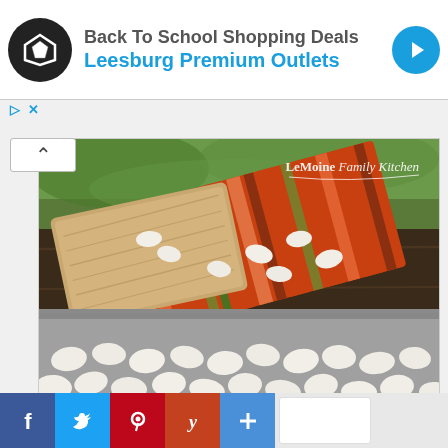Back To School Shopping Deals - Leesburg Premium Outlets
[Figure (photo): Food photography showing white beans spread on a baking tray with a colorful striped cloth napkin and a wooden cutting board in the background. Watermark reads 'LeMoine Family Kitchen'. Dark wood table surface visible.]
[Figure (infographic): Social media sharing bar with Facebook, Twitter, Pinterest, Yummly, and More (+) buttons, plus a share count box]